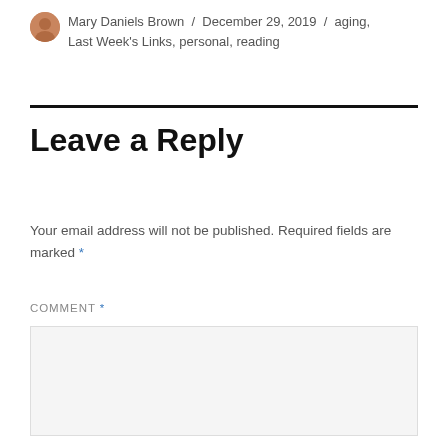Mary Daniels Brown / December 29, 2019 / aging, Last Week's Links, personal, reading
Leave a Reply
Your email address will not be published. Required fields are marked *
COMMENT *